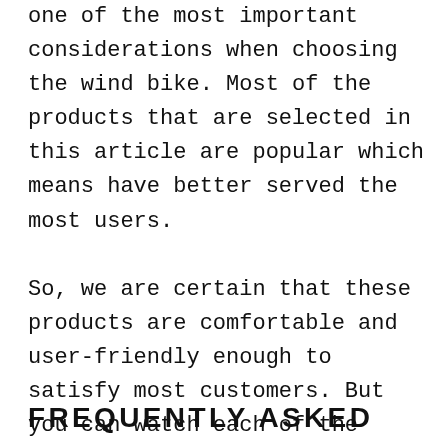one of the most important considerations when choosing the wind bike. Most of the products that are selected in this article are popular which means have better served the most users.
So, we are certain that these products are comfortable and user-friendly enough to satisfy most customers. But you can watch each of the products on our list to see which fulfills your satisfaction the most.
FREQUENTLY ASKED